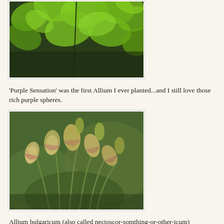[Figure (photo): Close-up photo of a thin dark green stem/stalk against a background of bright green maple-like leaves, suggesting an Allium 'Purple Sensation' plant before blooming.]
'Purple Sensation' was the first Allium I ever planted...and I still love those rich purple spheres.
[Figure (photo): Close-up photo of Allium bulgaricum (nectaroscordum) flowers — drooping bell-shaped buds with cream, green, and pink-purple coloring on arching stems, against a soft green bokeh background.]
Allium bulgaricum (also called nectoscor-somthing-or-other-icum)